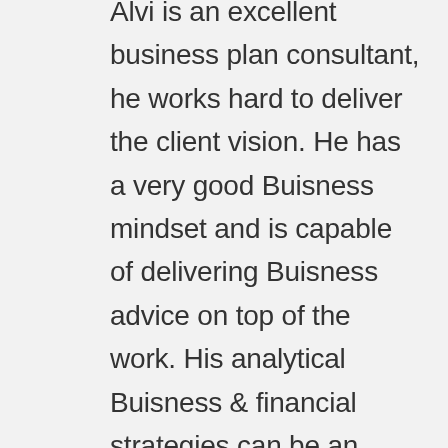Alvi is an excellent business plan consultant, he works hard to deliver the client vision. He has a very good Buisness mindset and is capable of delivering Buisness advice on top of the work. His analytical Buisness & financial strategies can be an asset to any project. He went above and beyond and offered to give us a Buisness evaluation as a bonus. Will work with Alvi again anytime. Highly recommended. A+ Thank